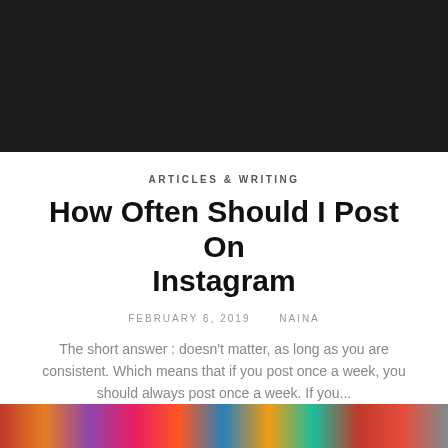[Figure (photo): Dark/black header image at the top of the page]
ARTICLES & WRITING
How Often Should I Post On Instagram
FEBRUARY 6, 2019    NAINA
The short answer : doesn't matter, as long as you are consistent. Which means that if you post once a week, you should always post once a week. If you...
VIEW POST
[Figure (photo): Colorful photo strip at the bottom of the page]